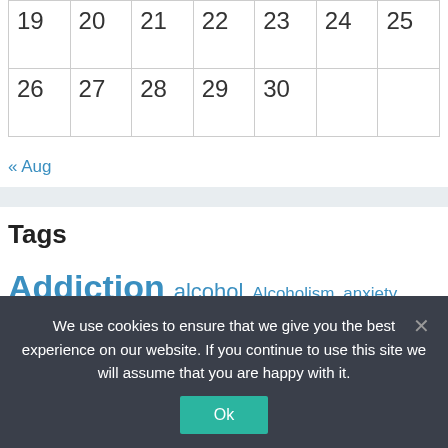| 19 | 20 | 21 | 22 | 23 | 24 | 25 |
| 26 | 27 | 28 | 29 | 30 |  |  |
« Aug
Tags
Addiction alcohol Alcoholism anxiety articles
We use cookies to ensure that we give you the best experience on our website. If you continue to use this site we will assume that you are happy with it.
Ok